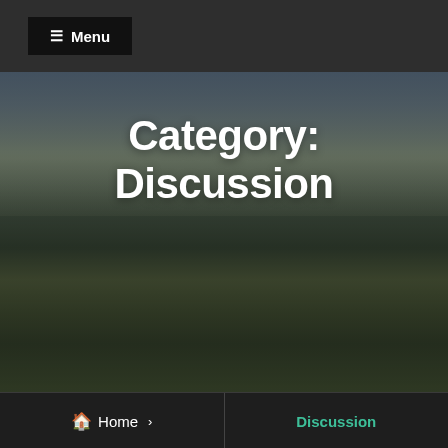☰ Menu
[Figure (photo): Aerial/elevated cityscape photo of a small city or town at dusk, with mountains in the background, cloudy sky with orange-tinted clouds, buildings and industrial structures visible, green grass and trees in the foreground.]
Category: Discussion
🏠 Home › Discussion